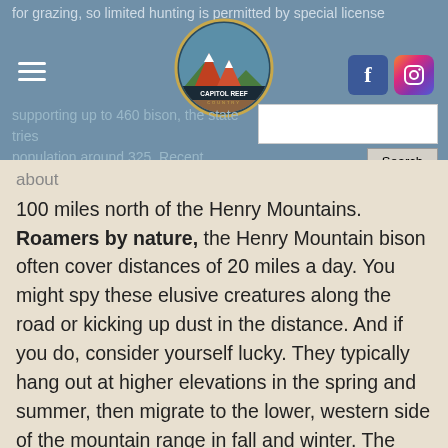for grazing, so limited hunting is permitted by special license ... supporting up to 460 bison, the state tries ... population around 325. Recent population control efforts also include transplanting excess bison to the ... about 100 miles north of the Henry Mountains.
[Figure (logo): Capitol Reef Country circular logo with mountain and red rock design]
[Figure (other): Facebook and Instagram social media icons]
Roamers by nature, the Henry Mountain bison often cover distances of 20 miles a day. You might spy these elusive creatures along the road or kicking up dust in the distance. And if you do, consider yourself lucky. They typically hang out at higher elevations in the spring and summer, then migrate to the lower, western side of the mountain range in fall and winter. The bison tend to graze at dusk and dawn, and rest during the day. They usually breed in summertime, and give birth in the late spring to early summer and that's usually the best time to spot them. Some of the best areas to look for the bison are Swap Mesa in the winter, Cave Flat/Airplane Springs in the early spring, and